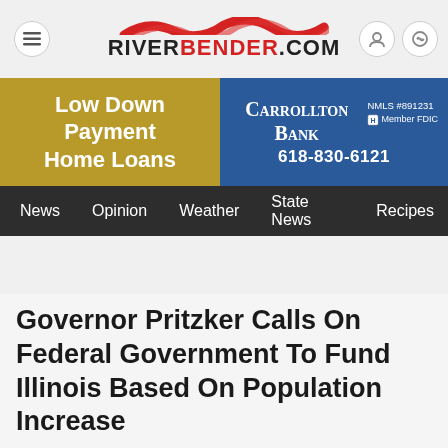RiverBender.com
[Figure (other): RiverBender.com logo with red wave/ribbon graphic and text on white background header bar with menu and user icons]
[Figure (other): Advertisement banner: 'Low Down Payment Home Loans' on gold background (left), Carrollton Bank NMLS #891231, Member FDIC, 618-830-6121 on blue background (right)]
News  Opinion  Weather  State News  Recipes
Governor Pritzker Calls On Federal Government To Fund Illinois Based On Population Increase